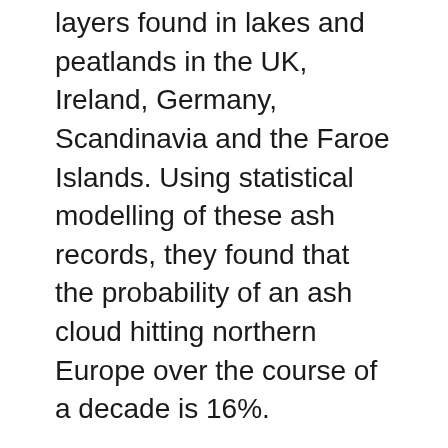layers found in lakes and peatlands in the UK, Ireland, Germany, Scandinavia and the Faroe Islands. Using statistical modelling of these ash records, they found that the probability of an ash cloud hitting northern Europe over the course of a decade is 16%.
Although in the past 1000 years, volcanic ash clouds reached northern Europe with average return interval of 56 years (plus or minus 9 years), this interval varied and can be shorter or longer. A minimum of 6 years and maximum of 115 years between events was recorded for the last 1,000 years.
The research was carried out by Dr Swindles with University of Leeds colleagues Ian Lawson and